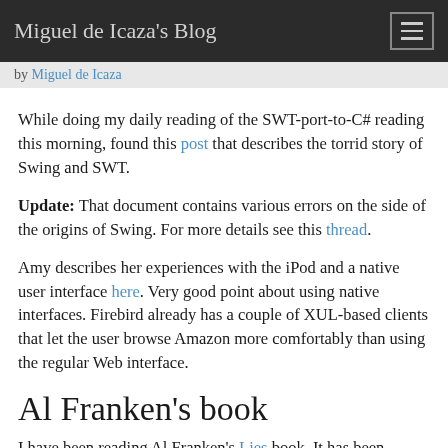Miguel de Icaza's Blog
by Miguel de Icaza
While doing my daily reading of the SWT-port-to-C# reading this morning, found this post that describes the torrid story of Swing and SWT.
Update: That document contains various errors on the side of the origins of Swing. For more details see this thread.
Amy describes her experiences with the iPod and a native user interface here. Very good point about using native interfaces. Firebird already has a couple of XUL-based clients that let the user browse Amazon more comfortably than using the regular Web interface.
Al Franken's book
I have been reading Al Franken's Lies book. It has been entertaining for the past couple of days, but it turned out